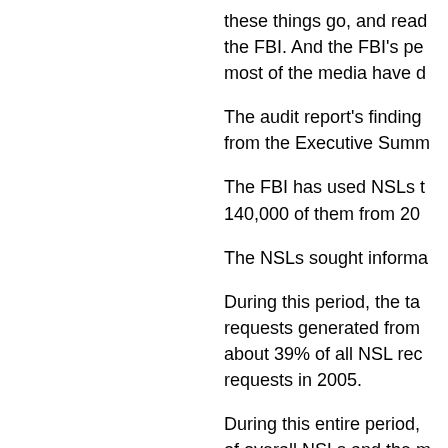these things go, and read the FBI. And the FBI's pe most of the media have d
The audit report's finding from the Executive Summ
The FBI has used NSLs t 140,000 of them from 20
The NSLs sought informa
During this period, the ta requests generated from about 39% of all NSL rec requests in 2005.
During this entire period, of overall NSLs and the r impropriety.